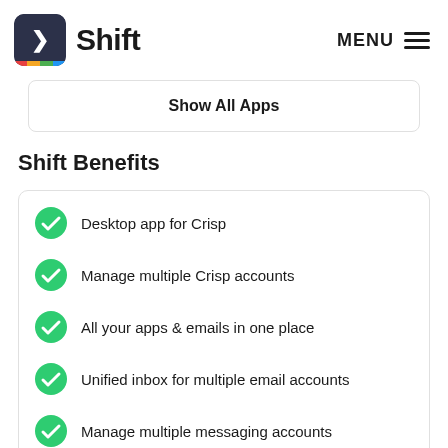Shift — MENU
Show All Apps
Shift Benefits
Desktop app for Crisp
Manage multiple Crisp accounts
All your apps & emails in one place
Unified inbox for multiple email accounts
Manage multiple messaging accounts
Manage multiple calendar accounts